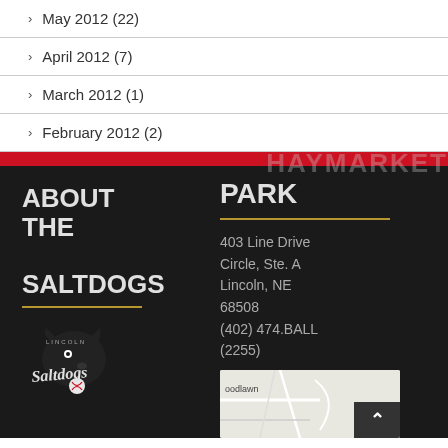May 2012 (22)
April 2012 (7)
March 2012 (1)
February 2012 (2)
ABOUT THE SALTDOGS
403 Line Drive Circle, Ste. A Lincoln, NE 68508 (402) 474.BALL (2255)
HAYMARKET PARK
[Figure (logo): Lincoln Saltdogs baseball team logo]
[Figure (map): Map showing location near Goodlawn area]